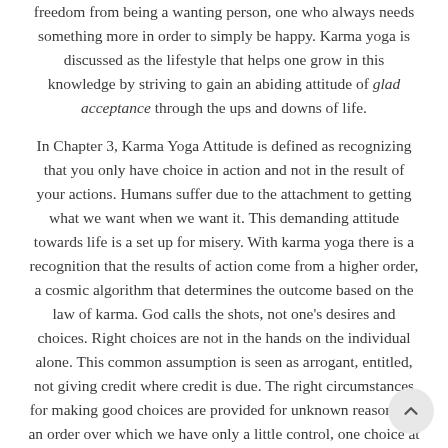freedom from being a wanting person, one who always needs something more in order to simply be happy. Karma yoga is discussed as the lifestyle that helps one grow in this knowledge by striving to gain an abiding attitude of glad acceptance through the ups and downs of life.
In Chapter 3, Karma Yoga Attitude is defined as recognizing that you only have choice in action and not in the result of your actions. Humans suffer due to the attachment to getting what we want when we want it. This demanding attitude towards life is a set up for misery. With karma yoga there is a recognition that the results of action come from a higher order, a cosmic algorithm that determines the outcome based on the law of karma. God calls the shots, not one's desires and choices. Right choices are not in the hands on the individual alone. This common assumption is seen as arrogant, entitled, not giving credit where credit is due. The right circumstances for making good choices are provided for unknown reasons by an order over which we have only a little control, one choice at a time. Many factors are not in our control. A humble attitude towards